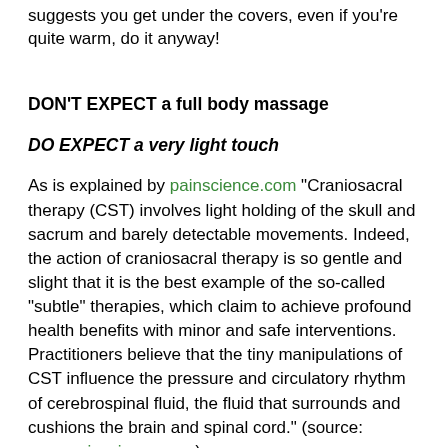suggests you get under the covers, even if you're quite warm, do it anyway!
DON'T EXPECT a full body massage
DO EXPECT a very light touch
As is explained by painscience.com “Craniosacral therapy (CST) involves light holding of the skull and sacrum and barely detectable movements. Indeed, the action of craniosacral therapy is so gentle and slight that it is the best example of the so-called “subtle” therapies, which claim to achieve profound health benefits with minor and safe interventions. Practitioners believe that the tiny manipulations of CST influence the pressure and circulatory rhythm of cerebrospinal fluid, the fluid that surrounds and cushions the brain and spinal cord.” (source: www.painscience.com)